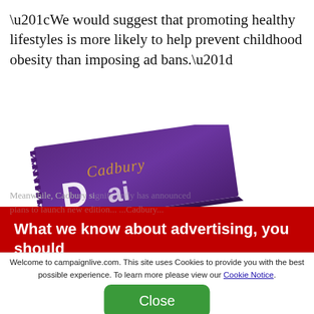“We would suggest that promoting healthy lifestyles is more likely to help prevent childhood obesity than imposing ad bans.”
[Figure (photo): Cadbury Dairy Milk chocolate bar wrapper, purple packaging, shown at an angle, with Cadbury cursive logo visible.]
What we know about advertising, you should know about advertising
Join Free
Welcome to campaignlive.com. This site uses Cookies to provide you with the best possible experience. To learn more please view our Cookie Notice.
Close
Meanwhile, Cadbury s... ...has announced plans to launch new edition... ...Cadbury...